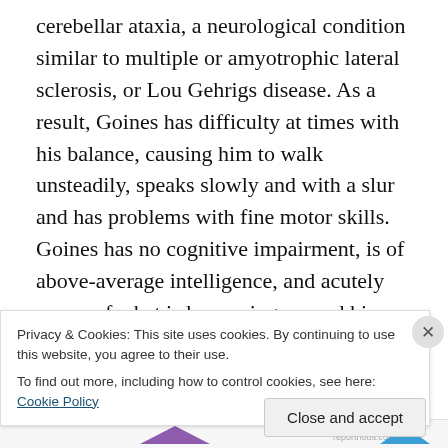cerebellar ataxia, a neurological condition similar to multiple or amyotrophic lateral sclerosis, or Lou Gehrigs disease. As a result, Goines has difficulty at times with his balance, causing him to walk unsteadily, speaks slowly and with a slur and has problems with fine motor skills. Goines has no cognitive impairment, is of above-average intelligence, and acutely aware of what is happening around him. The complaint alleges that on May 15, 2014, Goines was having problems with his cable television reception, including disconnections and extremely loud line noise and signals, and called the cable company for
Privacy & Cookies: This site uses cookies. By continuing to use this website, you agree to their use.
To find out more, including how to control cookies, see here: Cookie Policy
Close and accept